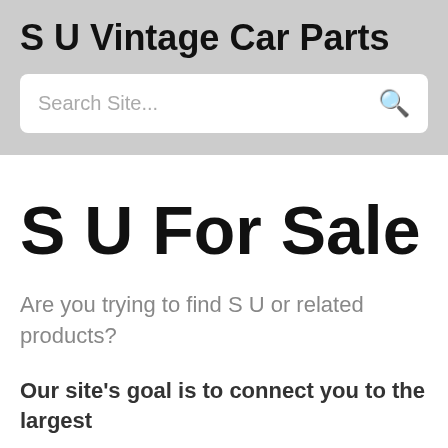S U Vintage Car Parts
Search Site...
S U For Sale
Are you trying to find S U or related products?
Our site's goal is to connect you to the largest